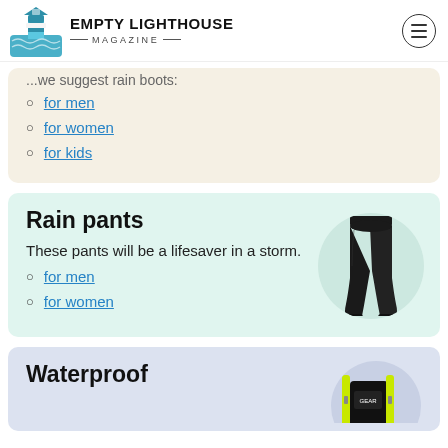EMPTY LIGHTHOUSE MAGAZINE
...we suggest rain boots:
for men
for women
for kids
Rain pants
These pants will be a lifesaver in a storm.
for men
for women
[Figure (photo): Person wearing black rain pants, shown from waist down]
Waterproof
[Figure (photo): Waterproof bag with yellow straps, partial view]